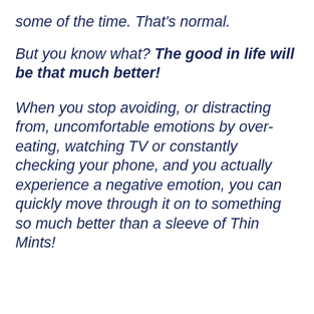some of the time. That's normal.
But you know what? The good in life will be that much better!
When you stop avoiding, or distracting from, uncomfortable emotions by over-eating, watching TV or constantly checking your phone, and you actually experience a negative emotion, you can quickly move through it on to something so much better than a sleeve of Thin Mints!